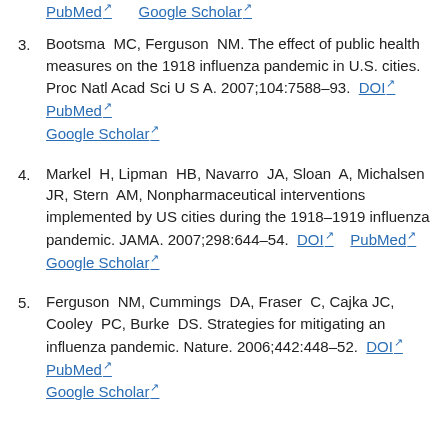PubMed [external link]   Google Scholar [external link]
3. Bootsma MC, Ferguson NM. The effect of public health measures on the 1918 influenza pandemic in U.S. cities. Proc Natl Acad Sci U S A. 2007;104:7588–93. DOI [external link]   PubMed [external link]   Google Scholar [external link]
4. Markel H, Lipman HB, Navarro JA, Sloan A, Michalsen JR, Stern AM, Nonpharmaceutical interventions implemented by US cities during the 1918–1919 influenza pandemic. JAMA. 2007;298:644–54. DOI [external link]   PubMed [external link]   Google Scholar [external link]
5. Ferguson NM, Cummings DA, Fraser C, Cajka JC, Cooley PC, Burke DS. Strategies for mitigating an influenza pandemic. Nature. 2006;442:448–52. DOI [external link]   PubMed [external link]   Google Scholar [external link]